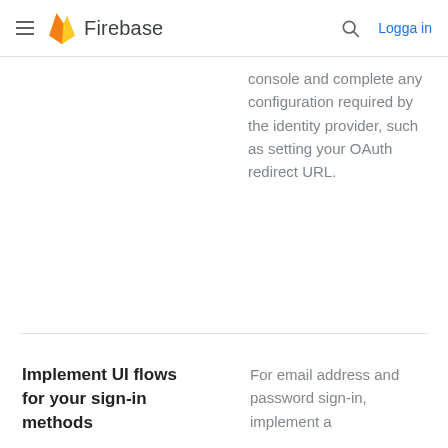Firebase — Logga in
console and complete any configuration required by the identity provider, such as setting your OAuth redirect URL.
Implement UI flows for your sign-in methods
For email address and password sign-in, implement a